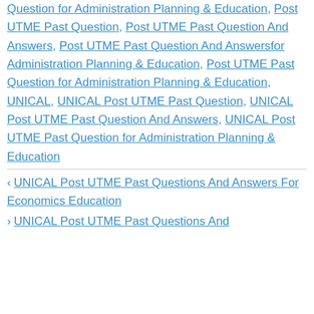Question for Administration Planning & Education, Post UTME Past Question, Post UTME Past Question And Answers, Post UTME Past Question And Answersfor Administration Planning & Education, Post UTME Past Question for Administration Planning & Education, UNICAL, UNICAL Post UTME Past Question, UNICAL Post UTME Past Question And Answers, UNICAL Post UTME Past Question for Administration Planning & Education
← UNICAL Post UTME Past Questions And Answers For Economics Education
UNICAL Post UTME Past Questions And...